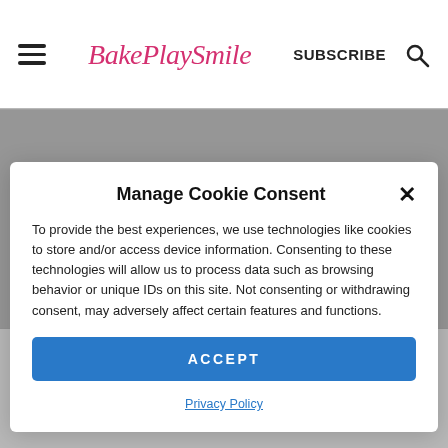BakePlaySmile — SUBSCRIBE (search icon)
Manage Cookie Consent
To provide the best experiences, we use technologies like cookies to store and/or access device information. Consenting to these technologies will allow us to process data such as browsing behavior or unique IDs on this site. Not consenting or withdrawing consent, may adversely affect certain features and functions.
ACCEPT
Privacy Policy
Woolworths). I used a 20cm X 2cm cake tin but you could use